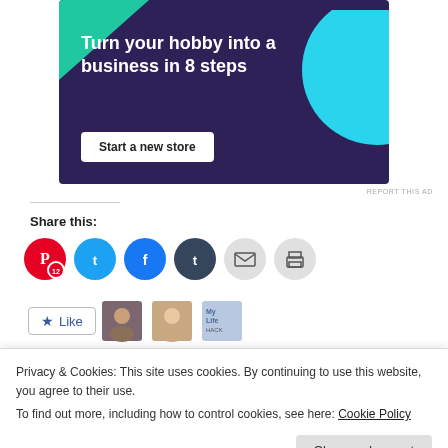[Figure (other): Advertisement banner with dark purple background, green triangle top-left, teal circle top-right, white bold text 'Turn your hobby into a business in 8 steps', and a white 'Start a new store' button]
REPORT THIS AD
Share this:
[Figure (other): Row of social sharing icons: Pinterest (red, count 12), Twitter (blue), Facebook (blue), Tumblr (dark), Email (grey), Print (grey)]
[Figure (other): Like button with star icon and three user avatars]
Privacy & Cookies: This site uses cookies. By continuing to use this website, you agree to their use.
To find out more, including how to control cookies, see here: Cookie Policy
Close and accept
[Figure (other): Bottom strip showing thumbnails: '20 Tips for a Smooth Transition and...' article thumbnail and two colored photo thumbnails]